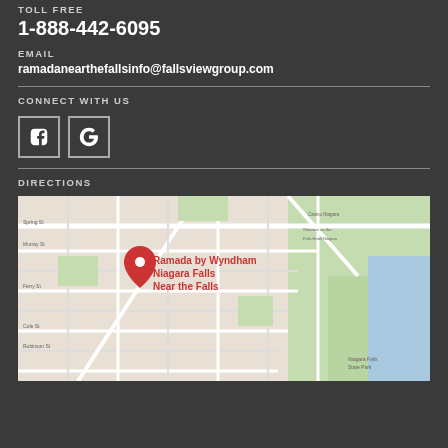TOLL FREE
1-888-442-6095
EMAIL
ramadanearthefallsinfo@fallsviewgroup.com
CONNECT WITH US
[Figure (illustration): Facebook and Google social media icons as white letter icons in square outlined boxes]
DIRECTIONS
[Figure (map): Google Maps screenshot showing location of Ramada by Wyndham Niagara Falls Near the Falls with a red pin marker and surrounding street map]